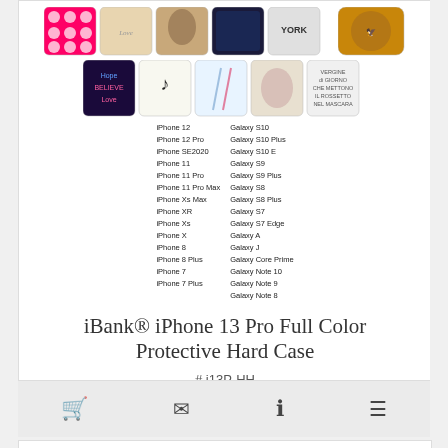[Figure (photo): Product image collage of colorful iPhone/Samsung cases with various designs including polka dots, dreamcatchers, feathers, lip prints, and New York theme. Below the cases is a compatibility list showing iPhone and Galaxy models.]
iBank® iPhone 13 Pro Full Color Protective Hard Case
# i13P-HH
18 day production time
$9.99 | Min. Qty: 100
[Figure (photo): Row of colorful iPhone cases shown at bottom of page]